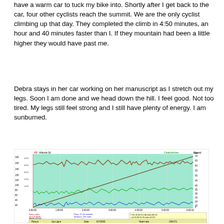have a warm car to tuck my bike into. Shortly after I get back to the car, four other cyclists reach the summit. We are the only cyclist climbing up that day. They completed the climb in 4:50 minutes, an hour and 40 minutes faster than I. If they mountain had been a little higher they would have past me.
Debra stays in her car working on her manuscript as I stretch out my legs. Soon I am done and we head down the hill. I feel good. Not too tired. My legs still feel strong and I still have plenty of energy. I am sunburned.
[Figure (continuous-plot): Multi-series cycling data chart showing altitude (ft), heart rate (HR), cadence, and speed over time. X-axis shows time from 0:00:00 to 6:00:00+. Y-axis left shows altitude/HR values, right shows speed. Green area shows altitude, brown jagged line shows heart rate, blue line shows cadence/speed. A diagonal line shows distance. Bottom has data labels including Person: Jay Ligon, Date: 6/7/2005, Heart rate: 154/171. Stats include distance 155 miles, descent 4047, pace 12 14 seconds.]